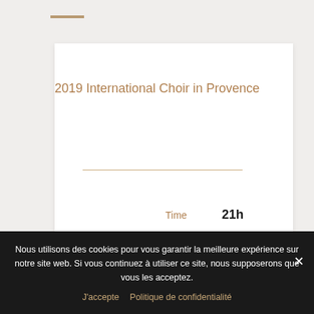2019 International Choir in Provence
| Label | Value |
| --- | --- |
| Date | 06/07/2019 |
| Time | 21h |
| City | La Seyne sur Mer |
Nous utilisons des cookies pour vous garantir la meilleure expérience sur notre site web. Si vous continuez à utiliser ce site, nous supposerons que vous les acceptez.
J'accepte   Politique de confidentialité